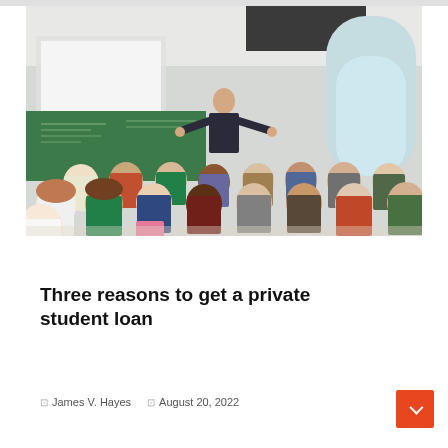[Figure (photo): A university lecture hall scene: a bald male instructor stands at the front gesturing with arms spread wide, in front of a green chalkboard with writing. Many students are seated in rows facing him, seen from behind. The room has large arched windows letting in bright light, and projectors hanging from the ceiling.]
Money managements
Three reasons to get a private student loan
James V. Hayes   August 20, 2022